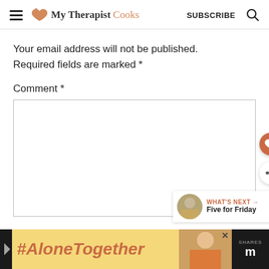My Therapist Cooks — SUBSCRIBE
Your email address will not be published. Required fields are marked *
Comment *
[Figure (screenshot): Comment text input box (empty), with floating heart save button and share button on the right side. A 'WHAT'S NEXT → Five for Friday' widget is visible at the lower right.]
[Figure (infographic): #AloneTogether advertisement banner at the bottom with a photo of a woman and a dark sidebar with share count.]